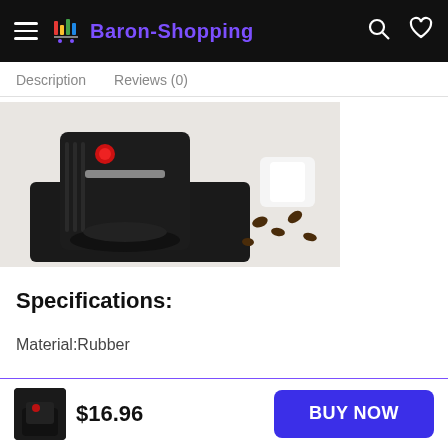Baron-Shopping
Description   Reviews (0)
[Figure (photo): Black rubber coffee maker mat/pad under a coffee machine, with coffee beans and white cup visible on the right side.]
Specifications:
Material:Rubber
Color:Black
$16.96
BUY NOW